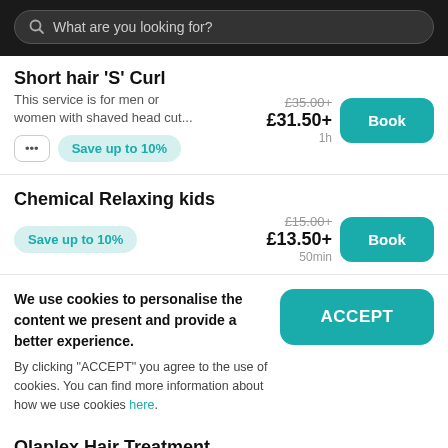What are you looking for?
Short hair 'S' Curl
This service is for men or women with shaved head cut...
Save up to 10%
£35.00+ £31.50+ 1h
Chemical Relaxing kids
Save up to 10%
£15.00+ £13.50+ 50min
We use cookies to personalise the content we present and provide a better experience.
By clicking "ACCEPT" you agree to the use of cookies. You can find more information about how we use cookies here.
Olaplex Hair Treatment
OLAPLEX is the ultimate treatment for damaged hair. Th...
£20.00+ £18.00+ 1h 20min